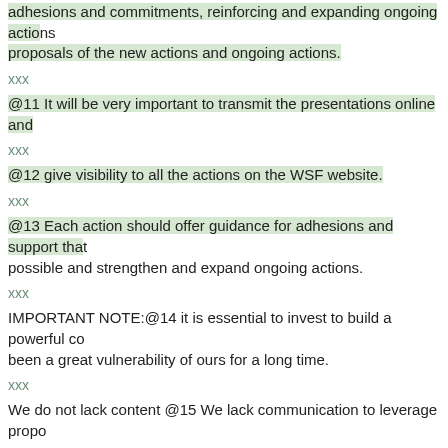adhesions and commitments, reinforcing and expanding ongoing actions proposals of the new actions and ongoing actions.
xxx
@11 It will be very important to transmit the presentations online and
xxx
@12 give visibility to all the actions on the WSF website.
xxx
@13 Each action should offer guidance for adhesions and support that is possible and strengthen and expand ongoing actions.
xxx
IMPORTANT NOTE:@14  it is essential to invest to build a powerful communication. This has been a great vulnerability of ours for a long time.
xxx
We do not lack content @15 We lack communication to leverage proposals
xxx
@16 Many times we wrongly attribute the responsibility of certain fragilities when actually the problem is in communication. This weakens us and can lead to diagnoses